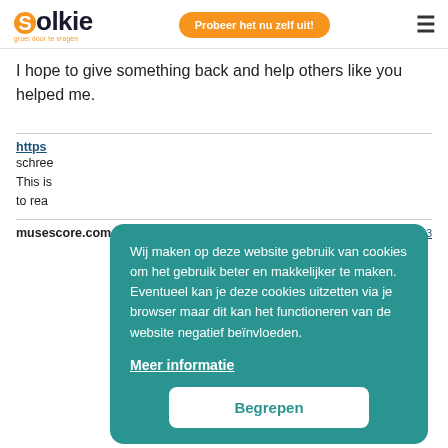[Figure (logo): Solkie logo with orange S circle and tagline 'groei door te vragen']
[Figure (other): Orange button reading 'Probeer het nu zelf uit!']
[Figure (other): Hamburger menu icon (three horizontal lines)]
I hope to give something back and help others like you helped me.
https...
schree...
This is... to rea...
musescore.com schreef:
16 april 2022 om 07:03
[Figure (other): Cookie consent overlay on teal background. Text: 'Wij maken op deze website gebruik van cookies om het gebruik beter en makkelijker te maken. Eventueel kan je deze cookies uitzetten via je browser maar dit kan het functioneren van de website negatief beïnvloeden.' Link: 'Meer informatie'. Button: 'Begrepen']